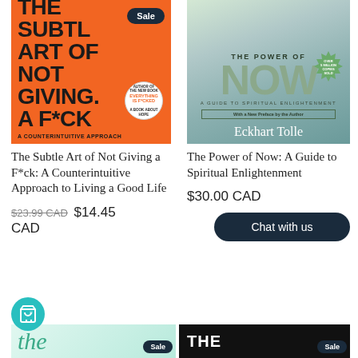[Figure (photo): Book cover: The Subtle Art of Not Giving a F*ck - orange background with bold black text and a Sale badge]
[Figure (photo): Book cover: The Power of Now by Eckhart Tolle - teal/gray gradient background]
The Subtle Art of Not Giving a F*ck: A Counterintuitive Approach to Living a Good Life
The Power of Now: A Guide to Spiritual Enlightenment
$23.99 CAD  $14.45 CAD
$30.00 CAD
Chat with us
[Figure (photo): Partial book cover peek at bottom left with text 'the' in teal cursive and Sale badge]
[Figure (photo): Partial book cover peek at bottom right with text 'THE' in white on black background and Sale badge]